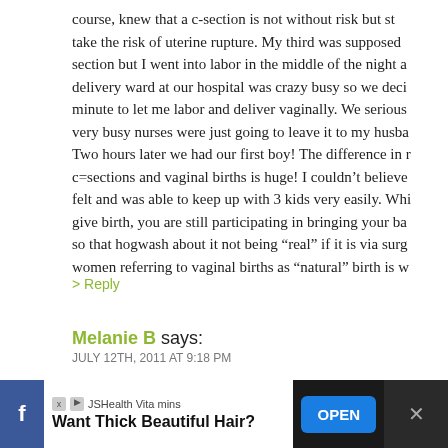course, knew that a c-section is not without risk but st... take the risk of uterine rupture. My third was supposed... section but I went into labor in the middle of the night a... delivery ward at our hospital was crazy busy so we deci... minute to let me labor and deliver vaginally. We serious... very busy nurses were just going to leave it to my husba... Two hours later we had our first boy! The difference in r... c=sections and vaginal births is huge! I couldn't believe... felt and was able to keep up with 3 kids very easily. Whi... give birth, you are still participating in bringing your ba... so that hogwash about it not being “real” if it is via surg... women referring to vaginal births as “natural” birth is w...
> Reply
167. Melanie B says: JULY 12TH, 2011 AT 9:18 PM
I had pre eclampsia and an emergency first birth which... traumatic for me because of the whole not being able to...
[Figure (other): Advertisement banner at the bottom of the page. Shows Facebook icon, JSHealth Vitamins ad with text 'Want Thick Beautiful Hair?' and an OPEN button in blue, plus a dark right section with close X button.]